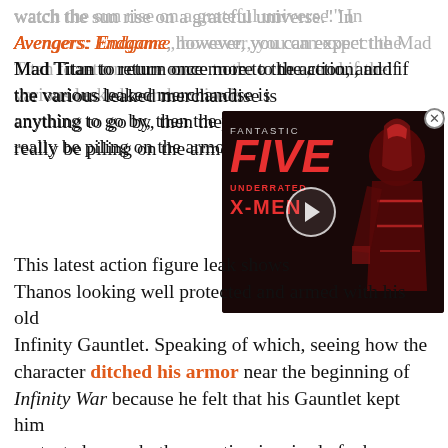watch the sun rise on a grateful universe." In Avengers: Endgame, however, you can expect the Mad Titan to return once more to the action, and if the various leaked merchandise is anything to go by, then the purple sociopath will really be piling on the armor.
[Figure (screenshot): Video thumbnail overlay showing 'Fantastic Five Underrated X-Men' with a dark-clad figure on the right and a play button in the center]
This latest action figure leak shows Thanos looking well protected and armed with his old Infinity Gauntlet. Speaking of which, seeing how the character ditched his armor near the beginning of Infinity War because he felt that his Gauntlet kept him protected enough, the question is raised of why exactly the villain's taking precautions this time around. Previous leaks even suggest that Thanos will also be wielding a massive new blade in the upcoming flick, as though a gauntlet capable of wiping out half the universe wasn't deadly enough.